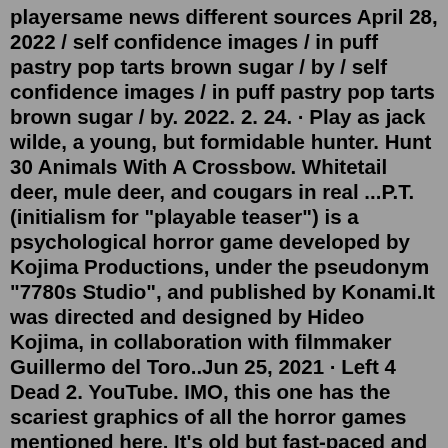playersame news different sources April 28, 2022 / self confidence images / in puff pastry pop tarts brown sugar / by / self confidence images / in puff pastry pop tarts brown sugar / by. 2022. 2. 24. · Play as jack wilde, a young, but formidable hunter. Hunt 30 Animals With A Crossbow. Whitetail deer, mule deer, and cougars in real ...P.T. (initialism for "playable teaser") is a psychological horror game developed by Kojima Productions, under the pseudonym "7780s Studio", and published by Konami.It was directed and designed by Hideo Kojima, in collaboration with filmmaker Guillermo del Toro..Jun 25, 2021 · Left 4 Dead 2. YouTube. IMO, this one has the scariest graphics of all the horror games mentioned here. It's old but fast-paced and quite fun. Again, you have to kill the zombies to survive till the end. For the best experience, play with friends in Versus mode. One gang will act like the zombies while the other will act as survivors. Aug 20, 2022 · Personally speaking, my preference is to play these games on the PC. However, there are numerous scary games on Xbox Series X, as